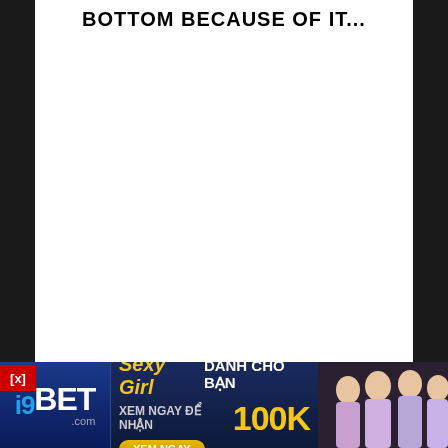BOTTOM BECAUSE OF IT...
[Figure (advertisement): i9BET.com advertisement banner with text 'Sexy Girl DANH CHO BAN XEM NGAY DE NHAN 100K XEM NGAY' and women photos on the right]
[x]